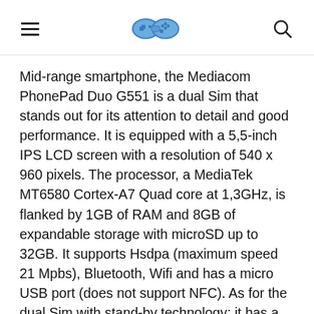[hamburger menu] [gamepad logo] [search icon]
Mid-range smartphone, the Mediacom PhonePad Duo G551 is a dual Sim that stands out for its attention to detail and good performance. It is equipped with a 5,5-inch IPS LCD screen with a resolution of 540 x 960 pixels. The processor, a MediaTek MT6580 Cortex-A7 Quad core at 1,3GHz, is flanked by 1GB of RAM and 8GB of expandable storage with microSD up to 32GB. It supports Hsdpa (maximum speed 21 Mpbs), Bluetooth, Wifi and has a micro USB port (does not support NFC). As for the dual Sim with stand-by technology: it has a slot for the card in Sim card format and a slot for the micro Sim format. The cameras are: the rear 5MP AF and the front 2MP. The measurements are: 155,2 x 76,8 x 8,3 mm with a weight of 164 grams. The operating system is Android 5.1. Mount